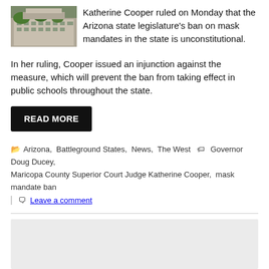[Figure (photo): Thumbnail photo of a large ornate building, likely a government or courthouse building, with trees visible]
Katherine Cooper ruled on Monday that the Arizona state legislature's ban on mask mandates in the state is unconstitutional.
In her ruling, Cooper issued an injunction against the measure, which will prevent the ban from taking effect in public schools throughout the state.
READ MORE
Arizona, Battleground States, News, The West   Governor Doug Ducey, Maricopa County Superior Court Judge Katherine Cooper, mask mandate ban
Leave a comment
[Figure (other): Loading placeholder with a spinner icon, gray background]